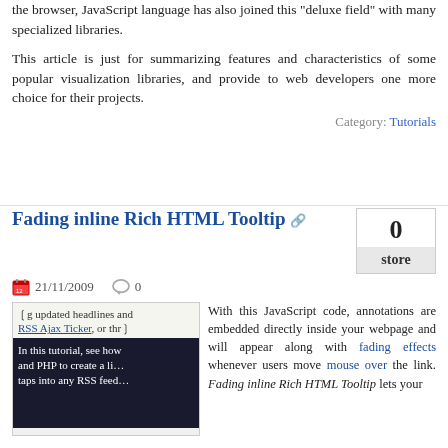the browser, JavaScript language has also joined this "deluxe field" with many specialized libraries.
This article is just for summarizing features and characteristics of some popular visualization libraries, and provide to web developers one more choice for their projects.
Category: Tutorials
Fading inline Rich HTML Tooltip
21/11/2009   0
0
store
[Figure (screenshot): Screenshot of a webpage showing RSS Ajax Ticker tutorial with text on dark background]
With this JavaScript code, annotations are embedded directly inside your webpage and will appear along with fading effects whenever users move mouse over the link. Fading inline Rich HTML Tooltip lets your